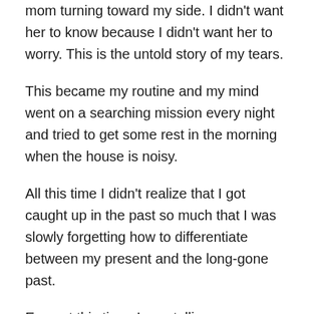mom turning toward my side. I didn't want her to know because I didn't want her to worry. This is the untold story of my tears.
This became my routine and my mind went on a searching mission every night and tried to get some rest in the morning when the house is noisy.
All this time I didn't realize that I got caught up in the past so much that I was slowly forgetting how to differentiate between my present and the long-gone past.
Even at this time, I was telling everyone around me to be happy and to live in the moment. How stupid could I be, going around giving advice to people that I can't follow myself? One day when I was passing through the park taking a regular stroll, a kid who I used to talk to came up to me and told me